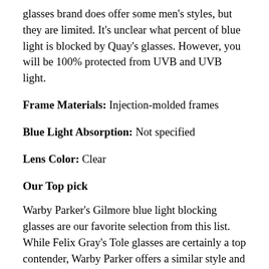glasses brand does offer some men's styles, but they are limited. It's unclear what percent of blue light is blocked by Quay's glasses. However, you will be 100% protected from UVB and UVB light.
Frame Materials: Injection-molded frames
Blue Light Absorption: Not specified
Lens Color: Clear
Our Top pick
Warby Parker's Gilmore blue light blocking glasses are our favorite selection from this list. While Felix Gray's Tole glasses are certainly a top contender, Warby Parker offers a similar style and quality